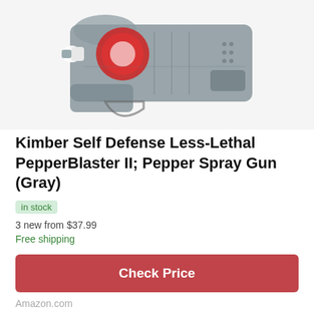[Figure (photo): Product photo of Kimber PepperBlaster II pepper spray gun in gray, shown from the side at an angle, revealing the internal red canister mechanism through the translucent gray body.]
Kimber Self Defense Less-Lethal PepperBlaster II; Pepper Spray Gun (Gray)
in stock
3 new from $37.99
Free shipping
Check Price
Amazon.com